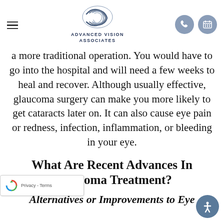ADVANCED VISION ASSOCIATES
a more traditional operation. You would have to go into the hospital and will need a few weeks to heal and recover. Although usually effective, glaucoma surgery can make you more likely to get cataracts later on. It can also cause eye pain or redness, infection, inflammation, or bleeding in your eye.
What Are Recent Advances In Glaucoma Treatment?
Alternatives or Improvements to Eye